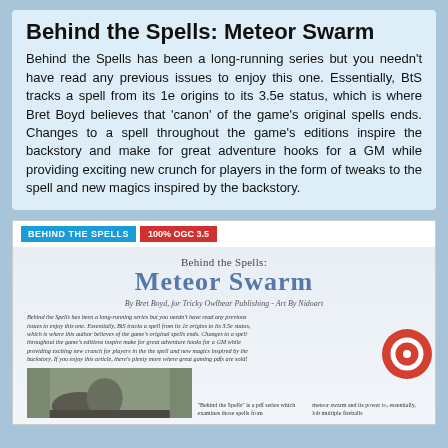Behind the Spells: Meteor Swarm
Behind the Spells has been a long-running series but you needn't have read any previous issues to enjoy this one. Essentially, BtS tracks a spell from its 1e origins to its 3.5e status, which is where Bret Boyd believes that 'canon' of the game's original spells ends. Changes to a spell throughout the game's editions inspire the backstory and make for great adventure hooks for a GM while providing exciting new crunch for players in the form of tweaks to the spell and new magics inspired by the backstory.
[Figure (screenshot): Preview of the Behind the Spells: Meteor Swarm PDF cover page, showing header bar with 'BEHIND the SPELLS' and '100% OGC 3.5' labels, title text, author credit, introductory body text, and a partial bottom image.]